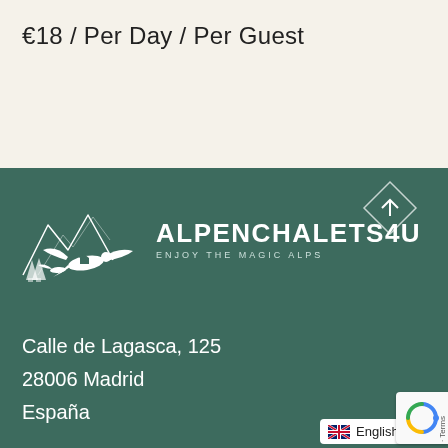€18 / Per Day / Per Guest
[Figure (logo): ALPENCHALETS4U logo with mountain and bird silhouette on teal background. Text: ALPENCHALETS4U / ENJOY THE MAGIC ALPS]
Calle de Lagasca, 125
28006 Madrid
España
[Figure (screenshot): Language selector showing English with UK flag and dropdown chevron, and reCAPTCHA badge on bottom right]